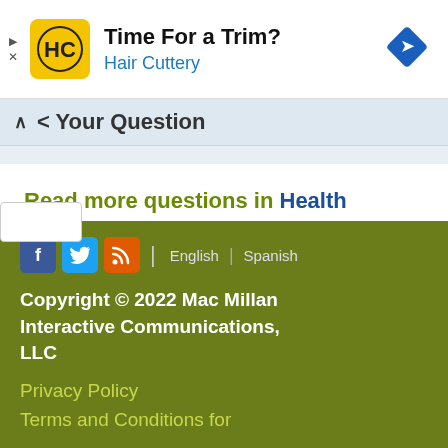[Figure (screenshot): Hair Cuttery advertisement banner with yellow logo, title 'Time For a Trim?', subtitle 'Hair Cuttery', and blue diamond navigation icon]
< Your Question
Read more questions in Health Advice
[Figure (infographic): Footer with Facebook, Twitter, RSS social icons, English and Spanish language links, copyright notice, and footer links]
Copyright © 2022 Mac Millan Interactive Communications, LLC
Privacy Policy
Terms and Conditions for